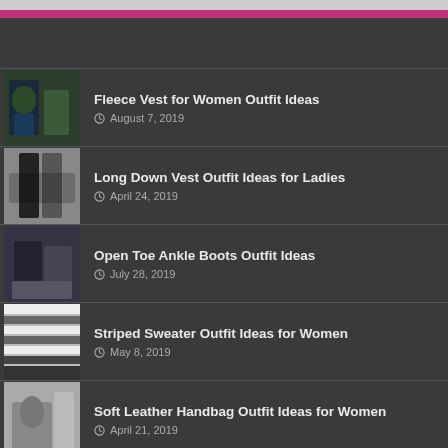Fleece Vest for Women Outfit Ideas — August 7, 2019
Long Down Vest Outfit Ideas for Ladies — April 24, 2019
Open Toe Ankle Boots Outfit Ideas — July 28, 2019
Striped Sweater Outfit Ideas for Women — May 8, 2019
Soft Leather Handbag Outfit Ideas for Women — April 21, 2019